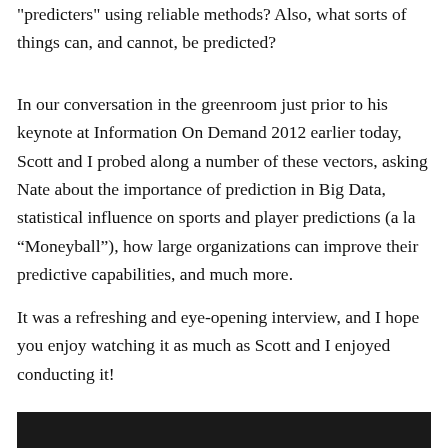"predicters" using reliable methods? Also, what sorts of things can, and cannot, be predicted?
In our conversation in the greenroom just prior to his keynote at Information On Demand 2012 earlier today, Scott and I probed along a number of these vectors, asking Nate about the importance of prediction in Big Data, statistical influence on sports and player predictions (a la “Moneyball”), how large organizations can improve their predictive capabilities, and much more.
It was a refreshing and eye-opening interview, and I hope you enjoy watching it as much as Scott and I enjoyed conducting it!
[Figure (photo): Dark/black video thumbnail or image block at bottom of page]